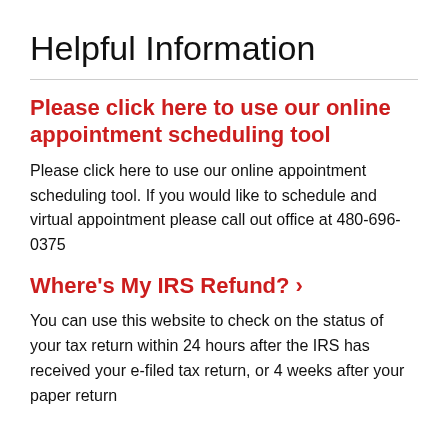Helpful Information
Please click here to use our online appointment scheduling tool
Please click here to use our online appointment scheduling tool. If you would like to schedule and virtual appointment please call out office at 480-696-0375
Where's My IRS Refund? ›
You can use this website to check on the status of your tax return within 24 hours after the IRS has received your e-filed tax return, or 4 weeks after your paper return